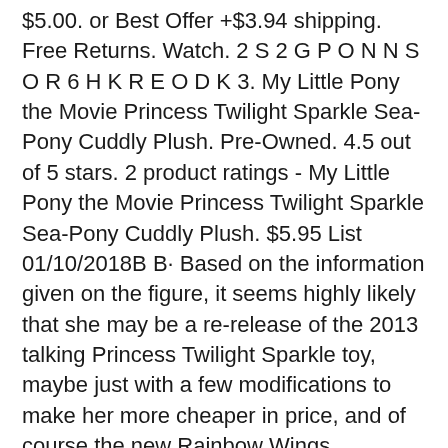$5.00. or Best Offer +$3.94 shipping. Free Returns. Watch. 2 S 2 G P O N N S O R 6 H K R E O D K 3. My Little Pony the Movie Princess Twilight Sparkle Sea-Pony Cuddly Plush. Pre-Owned. 4.5 out of 5 stars. 2 product ratings - My Little Pony the Movie Princess Twilight Sparkle Sea-Pony Cuddly Plush. $5.95 List 01/10/2018B B· Based on the information given on the figure, it seems highly likely that she may be a re-release of the 2013 talking Princess Twilight Sparkle toy, maybe just with a few modifications to make her more cheaper in price, and of course the new Rainbow Wings.
23/06/2013B B· A Hub commercial for the new Princess Twilight Sparkle toy. MLP: FiM (c)